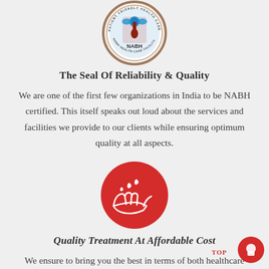[Figure (logo): NABH (National Accreditation Board for Hospitals) circular badge/seal with blue and brown colors and text around the border]
The Seal Of Reliability & Quality
We are one of the first few organizations in India to be NABH certified. This itself speaks out loud about the services and facilities we provide to our clients while ensuring optimum quality at all aspects.
[Figure (illustration): Red circle with white icon of hands holding blood drops]
Quality Treatment At Affordable Cost
We ensure to bring you the best in terms of both healthcare quality & affordability. We value our customers so providing the best of services to them at an affordable price is our objective